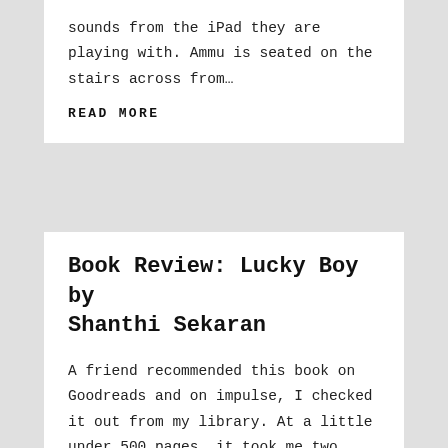sounds from the iPad they are playing with. Ammu is seated on the stairs across from…
READ MORE
Book Review: Lucky Boy by Shanthi Sekaran
A friend recommended this book on Goodreads and on impulse, I checked it out from my library. At a little under 500 pages, it took me two days